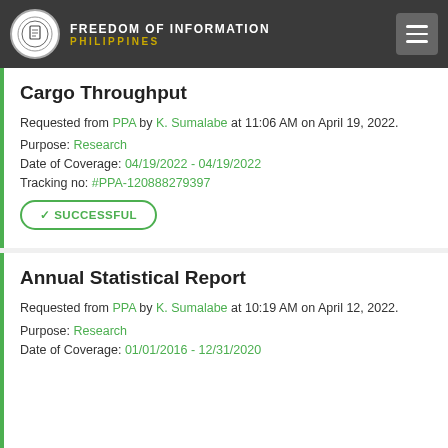FREEDOM OF INFORMATION PHILIPPINES
Cargo Throughput
Requested from PPA by K. Sumalabe at 11:06 AM on April 19, 2022.
Purpose: Research
Date of Coverage: 04/19/2022 - 04/19/2022
Tracking no: #PPA-120888279397
✓ SUCCESSFUL
Annual Statistical Report
Requested from PPA by K. Sumalabe at 10:19 AM on April 12, 2022.
Purpose: Research
Date of Coverage: 01/01/2016 - 12/31/2020